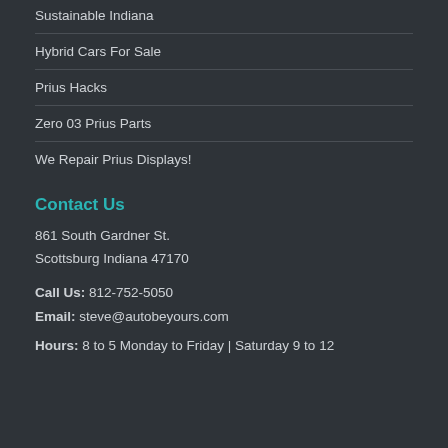Sustainable Indiana
Hybrid Cars For Sale
Prius Hacks
Zero 03 Prius Parts
We Repair Prius Displays!
Contact Us
861 South Gardner St.
Scottsburg Indiana 47170
Call Us: 812-752-5050
Email: steve@autobeyours.com
Hours: 8 to 5 Monday to Friday | Saturday 9 to 12